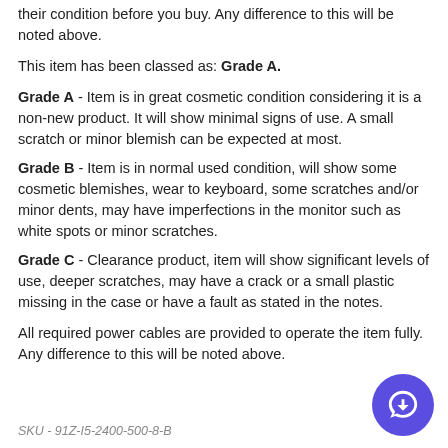their condition before you buy. Any difference to this will be noted above.
This item has been classed as: Grade A.
Grade A - Item is in great cosmetic condition considering it is a non-new product. It will show minimal signs of use. A small scratch or minor blemish can be expected at most.
Grade B - Item is in normal used condition, will show some cosmetic blemishes, wear to keyboard, some scratches and/or minor dents, may have imperfections in the monitor such as white spots or minor scratches.
Grade C - Clearance product, item will show significant levels of use, deeper scratches, may have a crack or a small plastic missing in the case or have a fault as stated in the notes.
All required power cables are provided to operate the item fully. Any difference to this will be noted above.
SKU - 91Z-I5-2400-500-8-B